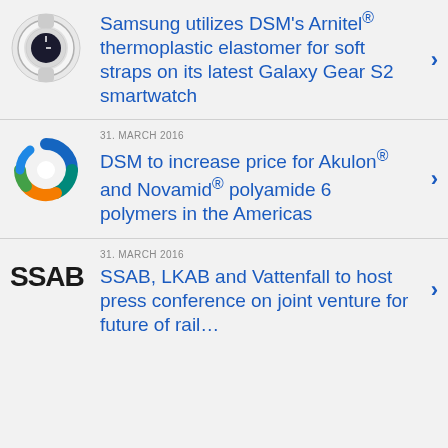[Figure (photo): Samsung Galaxy Gear S2 smartwatch product image]
Samsung utilizes DSM's Arnitel® thermoplastic elastomer for soft straps on its latest Galaxy Gear S2 smartwatch
[Figure (logo): DSM colorful swirl logo]
31. MARCH 2016
DSM to increase price for Akulon® and Novamid® polyamide 6 polymers in the Americas
[Figure (logo): SSAB company logo in black text]
31. MARCH 2016
SSAB, LKAB and Vattenfall to host press conference on joint venture for future of rail…